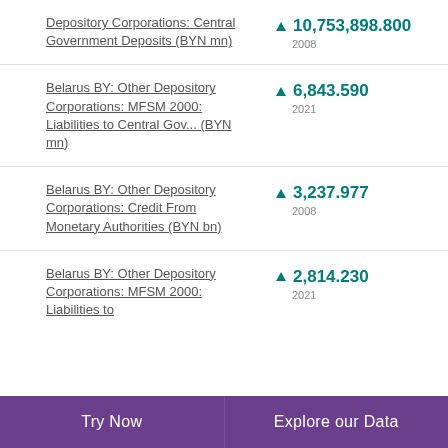Depository Corporations: Central Government Deposits (BYN mn) ▲ 10,753,898.800 2008
Belarus BY: Other Depository Corporations: MFSM 2000: Liabilities to Central Gov... (BYN mn) ▲ 6,843.590 2021
Belarus BY: Other Depository Corporations: Credit From Monetary Authorities (BYN bn) ▲ 3,237.977 2008
Belarus BY: Other Depository Corporations: MFSM 2000: Liabilities to ▲ 2,814.230 2021
Try Now   Explore our Data